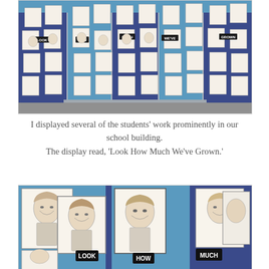[Figure (photo): Bulletin board display in a school hallway showing many student self-portrait drawings pinned on blue and light blue paper background, with word labels 'LOOK', 'HOW', 'MUCH', 'WE'VE', 'GROWN' spelling out the display title.]
I displayed several of the students' work prominently in our school building.
The display read, 'Look How Much We've Grown.'
[Figure (photo): Close-up view of the same bulletin board display showing larger student self-portrait drawings in pencil on white paper, pinned to blue and dark blue fabric. Labels visible: 'LOOK', 'HOW', 'MUCH'.]